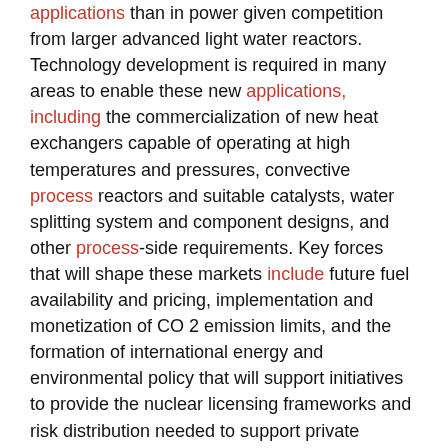applications than in power given competition from larger advanced light water reactors. Technology development is required in many areas to enable these new applications, including the commercialization of new heat exchangers capable of operating at high temperatures and pressures, convective process reactors and suitable catalysts, water splitting system and component designs, and other process-side requirements. Key forces that will shape these markets include future fuel availability and pricing, implementation and monetization of CO 2 emission limits, and the formation of international energy and environmental policy that will support initiatives to provide the nuclear licensing frameworks and risk distribution needed to support private investment. This paper was developed based on a plenary
3. Laser applications in materials processing
International Nuclear Information System (INIS)
Ready, J.F.
1980-01-01
The seminar focused on laser annealing of semiconductors,